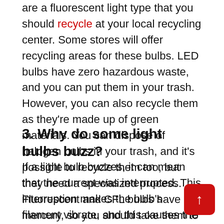are a fluorescent light type that you should recycle at your local recycling center. Some stores will offer recycling areas for these bulbs. LED bulbs have zero hazardous waste, and you can put them in your trash. However, you can also recycle them as they're made up of green materials. You can dispose of halogen bulbs in your trash, and it's possible to recycle them too, but they need a specialized process. Fluorescent and CFL bulbs have mercury, so you should take them to an accepting recycling center.
3. Why do some light bulbs buzz?
If a light bulb buzzes, it can mean that the current was interrupted. This interruption makes the bulb's filament vibrate, and this causes the buzzing n... Incandescent bulbs are the type of light bulb that